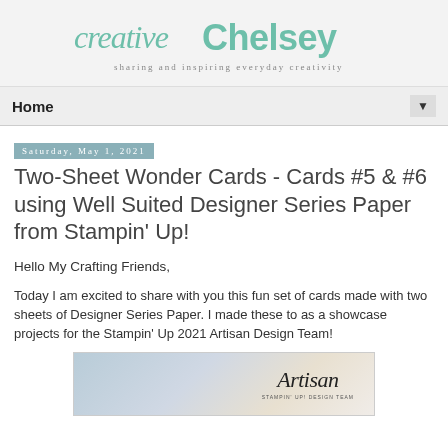[Figure (logo): Creative Chelsey blog logo with script and sans-serif text, teal/mint color, tagline 'sharing and inspiring everyday creativity']
Home ▼
Saturday, May 1, 2021
Two-Sheet Wonder Cards - Cards #5 & #6 using Well Suited Designer Series Paper from Stampin' Up!
Hello My Crafting Friends,
Today I am excited to share with you this fun set of cards made with two sheets of Designer Series Paper. I made these to as a showcase projects for the Stampin' Up 2021 Artisan Design Team!
[Figure (photo): Partial view of crafting project image showing blue patterned cards and Artisan branding text]